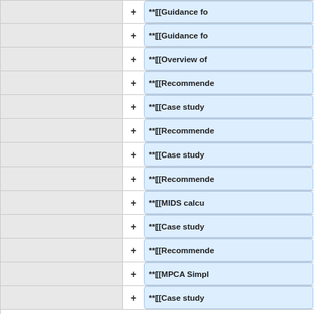|  | + | **[[Guidance fo |
|  | + | **[[Guidance fo |
|  | + | **[[Overview of |
|  | + | **[[Recommende |
|  | + | **[[Case study |
|  | + | **[[Recommende |
|  | + | **[[Case study |
|  | + | **[[Recommende |
|  | + | **[[MIDS calcu |
|  | + | **[[Case study |
|  | + | **[[Recommende |
|  | + | **[[MPCA Simpl |
|  | + | **[[Case study |